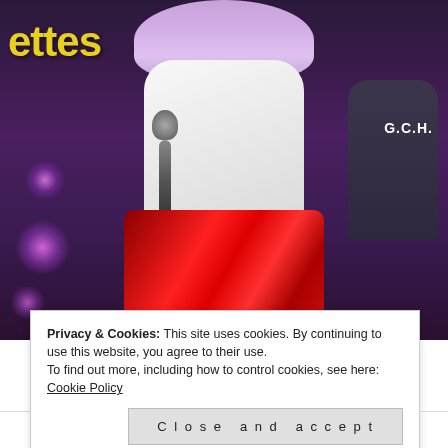[Figure (photo): A female singer with light purple/lavender hair wearing a white blouse and red metallic skirt, holding a microphone on a stage with purple bokeh lights. A drummer is visible in the background on the right. A sign reading 'ettes' is partially visible in the upper left.]
Privacy & Cookies: This site uses cookies. By continuing to use this website, you agree to their use.
To find out more, including how to control cookies, see here: Cookie Policy
Close and accept
Winnie and the Rockettes